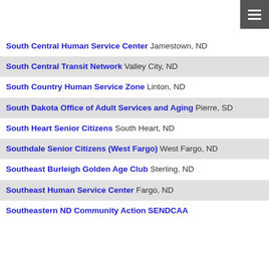[Figure (other): Hamburger menu button icon in dark gray square, top right corner]
South Central Human Service Center Jamestown, ND
South Central Transit Network Valley City, ND
South Country Human Service Zone Linton, ND
South Dakota Office of Adult Services and Aging Pierre, SD
South Heart Senior Citizens South Heart, ND
Southdale Senior Citizens (West Fargo) West Fargo, ND
Southeast Burleigh Golden Age Club Sterling, ND
Southeast Human Service Center Fargo, ND
Southeastern ND Community Action SENDCAA